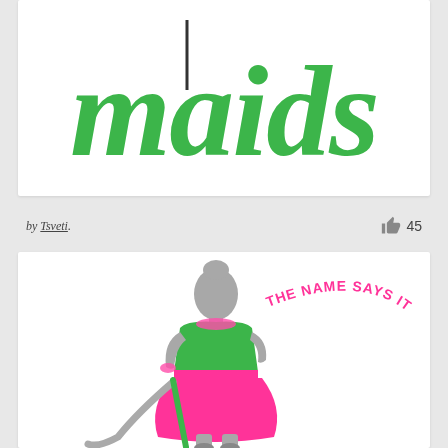[Figure (logo): Green script/handwritten text logo saying 'Maids' with a vertical line/pipe character before it, on white background]
by Tsveti.
45
[Figure (illustration): Illustration of a stylized maid woman in gray, green top and pink skirt, holding a vacuum cleaner, with pink text 'THE NAME SAYS IT ALL!' arched beside her]